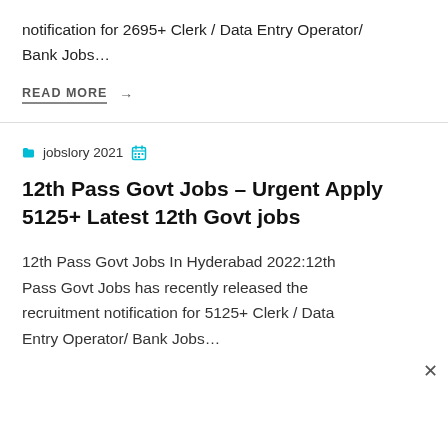notification for 2695+ Clerk / Data Entry Operator/ Bank Jobs…
READ MORE →
jobslory 2021
12th Pass Govt Jobs – Urgent Apply 5125+ Latest 12th Govt jobs
12th Pass Govt Jobs In Hyderabad 2022:12th Pass Govt Jobs has recently released the recruitment notification for 5125+ Clerk / Data Entry Operator/ Bank Jobs…